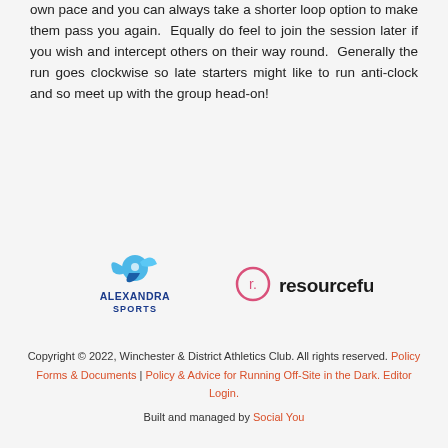own pace and you can always take a shorter loop option to make them pass you again.  Equally do feel to join the session later if you wish and intercept others on their way round.  Generally the run goes clockwise so late starters might like to run anti-clock and so meet up with the group head-on!
[Figure (logo): Alexandra Sports logo: blue and light-blue bird/figure mark above the text ALEXANDRA SPORTS in dark blue]
[Figure (logo): Resourceful logo: pink circle with lowercase r inside, followed by the word resourceful with a pink period]
Copyright © 2022, Winchester & District Athletics Club. All rights reserved. Policy Forms & Documents | Policy & Advice for Running Off-Site in the Dark. Editor Login.

Built and managed by Social You